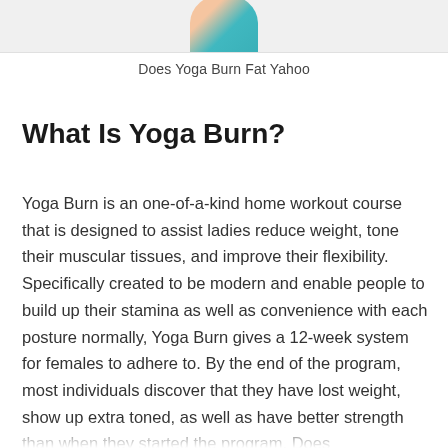[Figure (photo): Partial circular cropped photo of a person in a teal/turquoise outfit, visible from roughly the waist/torso area upward, cropped at the top edge of the page]
Does Yoga Burn Fat Yahoo
What Is Yoga Burn?
Yoga Burn is an one-of-a-kind home workout course that is designed to assist ladies reduce weight, tone their muscular tissues, and improve their flexibility. Specifically created to be modern and enable people to build up their stamina as well as convenience with each posture normally, Yoga Burn gives a 12-week system for females to adhere to. By the end of the program, most individuals discover that they have lost weight, show up extra toned, as well as have better strength than when they started the program. Does